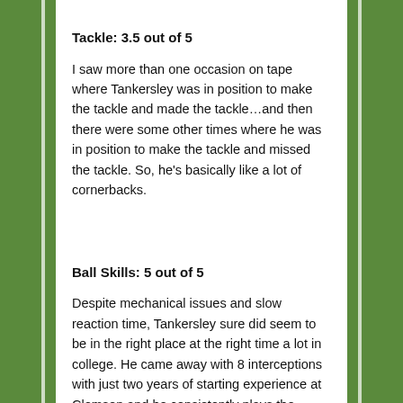Tackle: 3.5 out of 5
I saw more than one occasion on tape where Tankersley was in position to make the tackle and made the tackle…and then there were some other times where he was in position to make the tackle and missed the tackle. So, he's basically like a lot of cornerbacks.
Ball Skills: 5 out of 5
Despite mechanical issues and slow reaction time, Tankersley sure did seem to be in the right place at the right time a lot in college. He came away with 8 interceptions with just two years of starting experience at Clemson and he consistently plays the football very well when it's not going over his head for a huge gain.